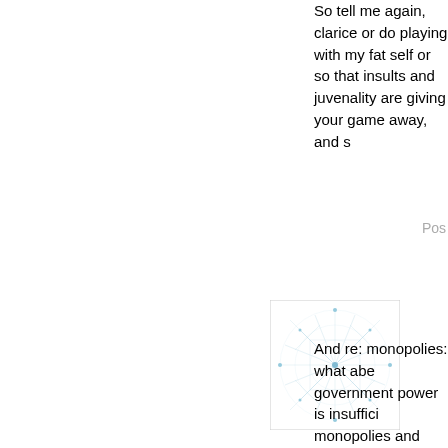So tell me again, clarice or do playing with my fat self or so that insults and juvenality are giving your game away, and s
Pos
[Figure (illustration): Small square avatar image with light blue abstract network/web-like pattern on white background]
And re: monopolies: what abe government power is insuffici monopolies and oligopolies, n Free-market purism is utopia attempted, let alone achieved propaganda tool for oligopolis Marxism in that sense. In rea it was always "poisoned" alor Marxists purists, to this day, i implemented, it would succee claims from free market puris The reality is that only mixed socialism -- have thrived and power ebbs, the power of org That's human nature. Comple structure and that structure re